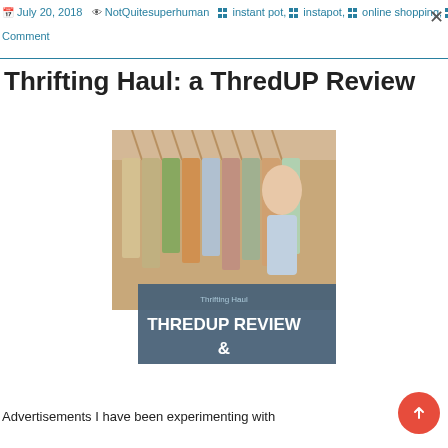July 20, 2018  NotQuitesuperhuman  instant pot, instapot, online shopping, savings, shopping  No Comment
Thrifting Haul: a ThredUP Review
[Figure (photo): Photo of clothing on hangers in a store, with an overlay panel reading 'Thrifting Haul' and 'THREDUP REVIEW &']
Advertisements I have been experimenting with